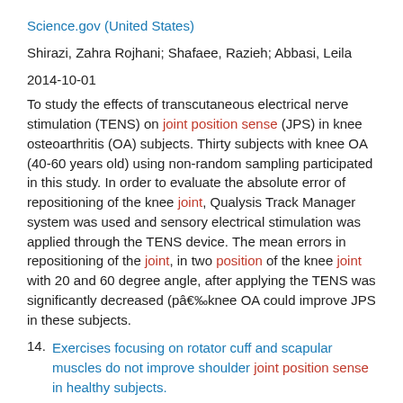Science.gov (United States)
Shirazi, Zahra Rojhani; Shafaee, Razieh; Abbasi, Leila
2014-10-01
To study the effects of transcutaneous electrical nerve stimulation (TENS) on joint position sense (JPS) in knee osteoarthritis (OA) subjects. Thirty subjects with knee OA (40-60 years old) using non-random sampling participated in this study. In order to evaluate the absolute error of repositioning of the knee joint, Qualysis Track Manager system was used and sensory electrical stimulation was applied through the TENS device. The mean errors in repositioning of the joint, in two position of the knee joint with 20 and 60 degree angle, after applying the TENS was significantly decreased (p​â€‰knee OA could improve JPS in these subjects.
14. Exercises focusing on rotator cuff and scapular muscles do not improve shoulder joint position sense in healthy subjects.
Science.gov (United States)
Lin, Yin-Liang; Karduna, Andrew